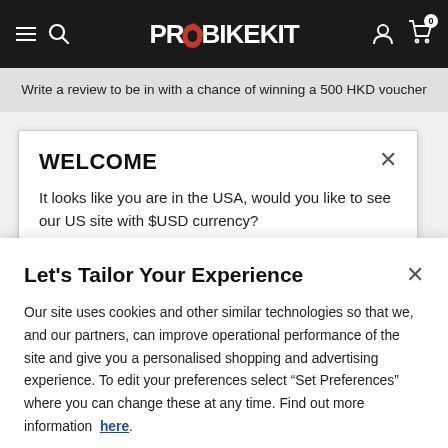PROBIKEKIT navigation bar with hamburger menu, search, logo, user and cart icons
Write a review to be in with a chance of winning a 500 HKD voucher
WELCOME
It looks like you are in the USA, would you like to see our US site with $USD currency?
Let's Tailor Your Experience
Our site uses cookies and other similar technologies so that we, and our partners, can improve operational performance of the site and give you a personalised shopping and advertising experience. To edit your preferences select "Set Preferences" where you can change these at any time. Find out more information here.